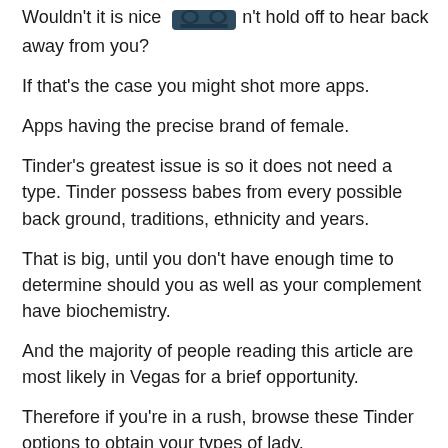Wouldn't it is nice [image] don't hold off to hear back away from you?
If that's the case you might shot more apps.
Apps having the precise brand of female.
Tinder's greatest issue is so it does not need a type. Tinder possess babes from every possible back ground, traditions, ethnicity and years.
That is big, until you don't have enough time to determine should you as well as your complement have biochemistry.
And the majority of people reading this article are most likely in Vegas for a brief opportunity.
Therefore if you're in a rush, browse these Tinder options to obtain your types of lady.